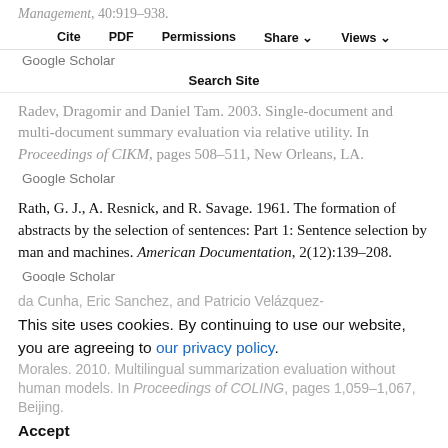Management, 40:919–938.
Cite  PDF  Permissions  Share  Views
Google Scholar
Search Site
Radev, Dragomir and Daniel Tam. 2003. Single-document and multi-document summary evaluation via relative utility. In Proceedings of CIKM, pages 508–511, New Orleans, LA.
Google Scholar
Rath, G. J., A. Resnick, and R. Savage. 1961. The formation of abstracts by the selection of sentences: Part 1: Sentence selection by man and machines. American Documentation, 2(12):139–208.
Google Scholar
Saggion, Horacio, Juan-Manuel Torres Moreno, Iria da Cunha, Eric Sanchez, and Patricio Velázquez-Morales. 2010. Multilingual summarization evaluation without human models. In Proceedings of COLING, pages 1,059–1,067, Beijing.
This site uses cookies. By continuing to use our website, you are agreeing to our privacy policy. Accept